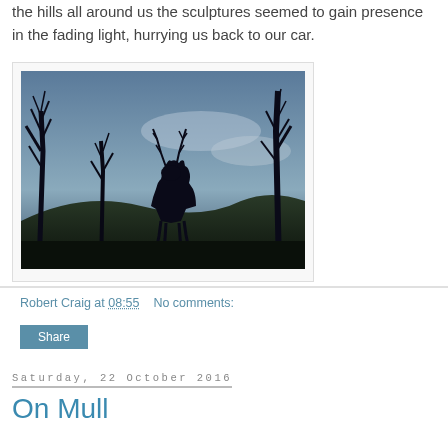the hills all around us the sculptures seemed to gain presence in the fading light, hurrying us back to our car.
[Figure (photo): Silhouette of a stag sculpture among bare trees against a twilight sky with hills in the background]
Robert Craig at 08:55    No comments:
Share
Saturday, 22 October 2016
On Mull